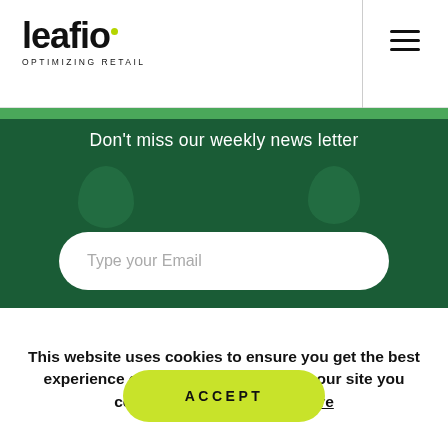[Figure (logo): Leafio logo with text 'leafio' in bold black font with a small yellow-green dot, and subtitle 'OPTIMIZING RETAIL']
[Figure (other): Hamburger menu icon (three horizontal lines) on the right side of the header]
Don't miss our weekly news letter
Type your Email
This website uses cookies to ensure you get the best experience on our website. By using our site you consent cookies - Learn more
ACCEPT